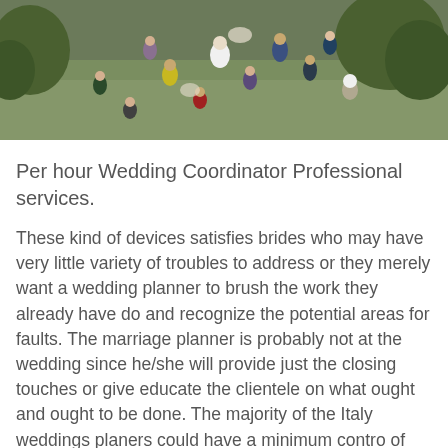[Figure (photo): Aerial/overhead view of a wedding reception outdoors on a green lawn, showing guests in formal attire from above, trees and greenery visible]
Per hour Wedding Coordinator Professional services.
These kind of devices satisfies brides who may have very little variety of troubles to address or they merely want a wedding planner to brush the work they already have do and recognize the potential areas for faults. The marriage planner is probably not at the wedding since he/she will provide just the closing touches or give educate the clientele on what ought and ought to be done. The majority of the Italy weddings planers could have a minimum contro of three hours.